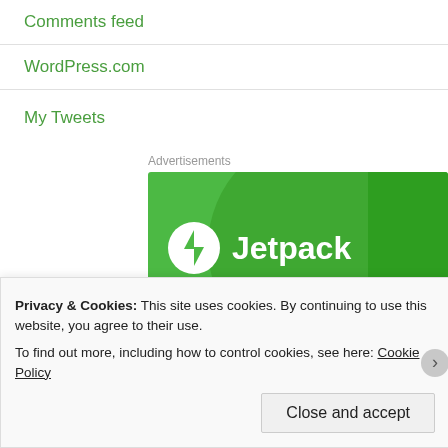Comments feed
WordPress.com
My Tweets
[Figure (logo): Jetpack advertisement banner with green background, Jetpack logo (lightning bolt icon) and text 'Jetpack']
Privacy & Cookies: This site uses cookies. By continuing to use this website, you agree to their use.
To find out more, including how to control cookies, see here: Cookie Policy
Close and accept